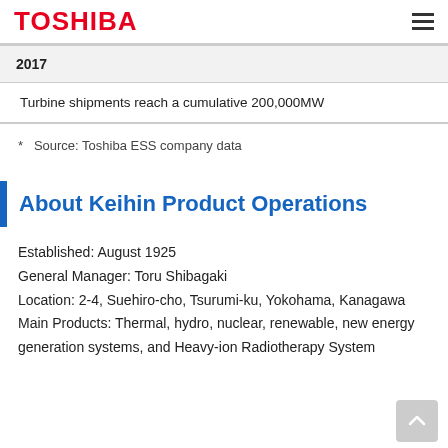TOSHIBA
| 2017 |
| Turbine shipments reach a cumulative 200,000MW |
* Source: Toshiba ESS company data
About Keihin Product Operations
Established: August 1925
General Manager: Toru Shibagaki
Location: 2-4, Suehiro-cho, Tsurumi-ku, Yokohama, Kanagawa
Main Products: Thermal, hydro, nuclear, renewable, new energy generation systems, and Heavy-ion Radiotherapy System